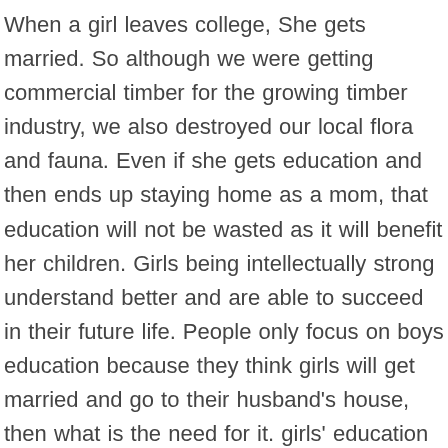When a girl leaves college, She gets married. So although we were getting commercial timber for the growing timber industry, we also destroyed our local flora and fauna. Even if she gets education and then ends up staying home as a mom, that education will not be wasted as it will benefit her children. Girls being intellectually strong understand better and are able to succeed in their future life. People only focus on boys education because they think girls will get married and go to their husband's house, then what is the need for it. girls' education hotspots, especially to help countries stuck in an education bog where progress on basic education achievement and gender parity has stalled. This is due to the recognised gaps in policy, implementation as well as existing socio-economic and cultural parameters associated with it.